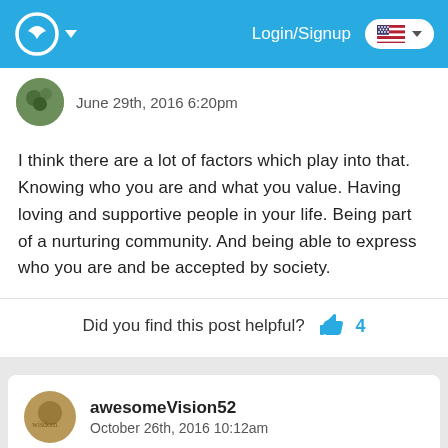Login/Signup
June 29th, 2016 6:20pm
I think there are a lot of factors which play into that. Knowing who you are and what you value. Having loving and supportive people in your life. Being part of a nurturing community. And being able to express who you are and be accepted by society.
Did you find this post helpful? 4
awesomeVision52
October 26th, 2016 10:12am
There loved ones makes a person emotionally